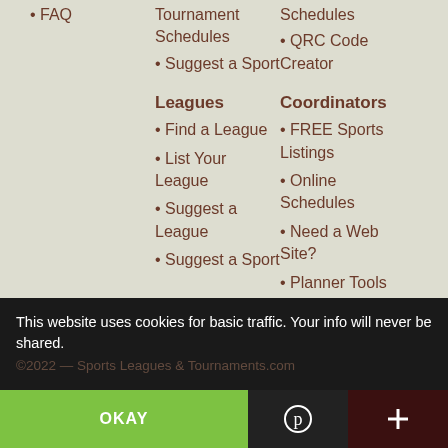• FAQ
Tournament Schedules
• Suggest a Sport
• QRC Code Creator
Leagues
• Find a League
Coordinators
• List Your League
• FREE Sports Listings
• Suggest a League
• Online Schedules
• Suggest a Sport
• Need a Web Site?
• Planner Tools
This website uses cookies for basic traffic. Your info will never be shared.
©2022 — Sports Leagues & Tournaments.com
OKAY